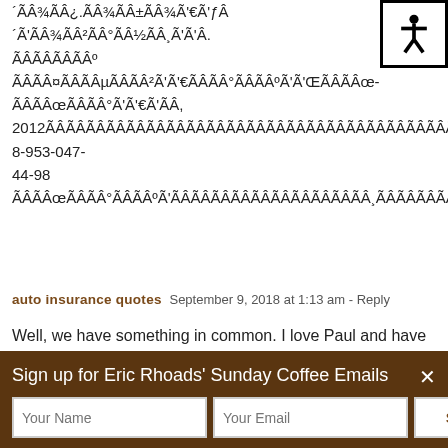´ÃÂ¾ÃÂ¿.ÃÂ¾ÃÂ±ÃÂ¾Ã'€Ã'ƒÂ´Ã'ÃÂ¾ÃÂ²ÃÂ°ÃÂ½ÃÂ¸Ã'Ã'Â. ÃÂÃÂÃÂÃÂÃÂÃÂÃÂÃÂÃÂÃÂÃÂÃÂÃÂÃÂÃÂÃÂÃÂÃÂÃÂÃÂÃÂÃÂÃÂÃÂÃÂÃÂÃÂÃÂÃÂÃÂÃÂÃÂÃÂÃÂÃÂÃÂÃÂÃÂÃÂÃÂÃÂÃÂÃÂÃÂÃÂÃÂÃÂÃÂÃÂÃÂÃÂÃÂÃÂÃÂÃÂÃÂÃÂÃÂÃÂÃÂÃÂÃÂ- ÃÂÃÂÃÂÃÂÃÂÃÂÃÂÃÂÃÂÃÂÃÂÃÂÃÂÃÂÃÂÃÂÃÂÃÂÃÂÃÂÃÂÃÂÃÂÃÂÃÂÃÂÃÂÃÂÃÂÃÂÃÂÃÂÃÂÃÂÃÂÃÂÃÂÃÂÃÂÃÂÃÂÃÂÃÂÃÂÃÂÃÂÃÂÃÂÃÂÃÂÃÂÃÂÃÂÃÂÃÂÃÂÃÂÃÂ, 2012ÃÂÃÂÃÂÃÂÃÂÃÂÃÂÃÂÃÂÃÂÃÂÃÂÃÂÃÂÃÂÃÂÃÂÃÂÃÂÃÂÃÂÃÂÃÂÃÂÃÂÃÂÃÂÃÂÃÂÃÂÃÂÃÂÃÂÃÂÃÂÃÂÃÂÃÂÃÂÃÂÃÂÃÂÃÂÃÂÃÂÃÂÃÂÃÂÃÂÃÂÃÂÃÂÃÂÃÂÃÂ
auto insurance quotes  September 9, 2018 at 1:13 am - Reply
Well, we have something in common. I love Paul and have most of his CDs. I'd Rather Be a Hammer Than A Nail is still my favorite. 800 lb Jesus should also be
Sign up for Eric Rhoads' Sunday Coffee Emails
Your Name
Your Email
Sign Up